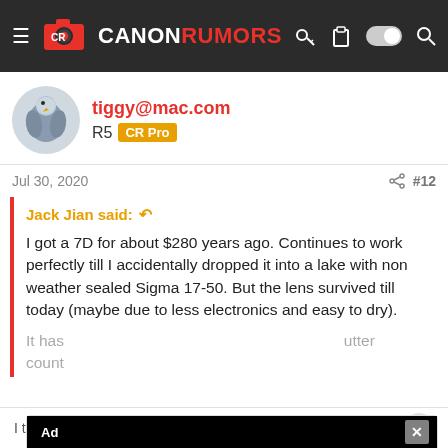[Figure (logo): Canon Rumors site header with logo, hamburger menu, key icon, clipboard icon, toggle switch, and search icon on dark background]
tiggy@mac.com
R5  CR Pro
Jul 30, 2020
#12
Jack Jian said: ↩
I got a 7D for about $280 years ago. Continues to work perfectly till I accidentally dropped it into a lake with non weather sealed Sigma 17-50. But the lens survived till today (maybe due to less electronics and easy to dry).
It has [Ad] ...utter count
[Figure (screenshot): Advertisement overlay showing In-store shopping, Curbside pickup, and Delivery options with checkmarks, retailer logo, navigation arrow icon, play icon and X icon]
I too have found the shutters         resilient. The stated shutte